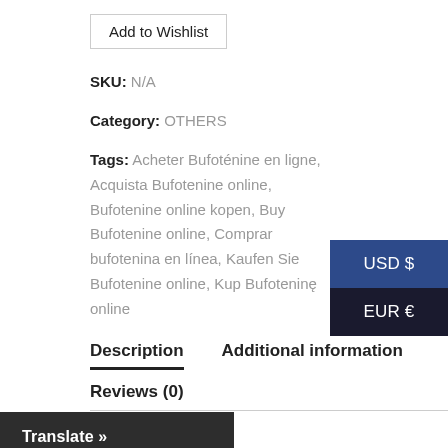Add to Wishlist
SKU: N/A
Category: OTHERS
Tags: Acheter Bufoténine en ligne, Acquista Bufotenine online, Bufotenine online kopen, Buy Bufotenine online, Comprar bufotenina en línea, Kaufen Sie Bufotenine online, Kup Bufoteninę online
USD $
EUR €
Description
Additional information
Reviews (0)
Description
Buy Bufotenine online
Translate »